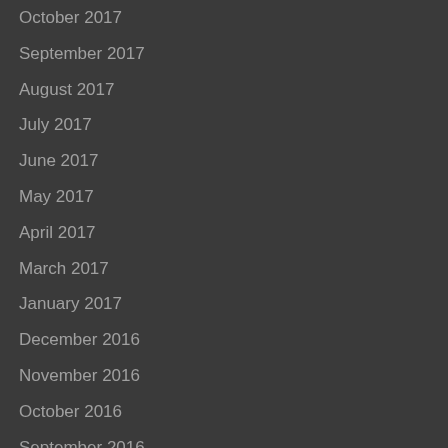October 2017
September 2017
August 2017
July 2017
June 2017
May 2017
April 2017
March 2017
January 2017
December 2016
November 2016
October 2016
September 2016
August 2016